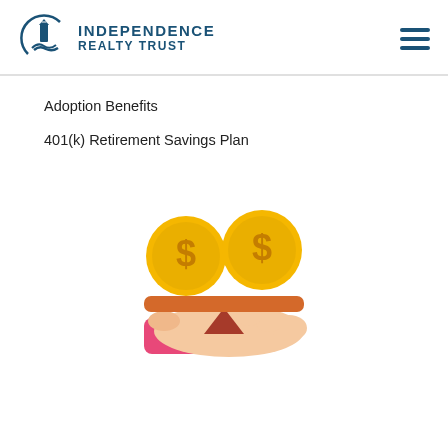[Figure (logo): Independence Realty Trust logo with lighthouse icon and hamburger menu icon on the right]
Adoption Benefits
401(k) Retirement Savings Plan
[Figure (illustration): Illustration of two gold dollar sign coins balanced on a scale/plank held up by a triangle fulcrum, resting on an outstretched hand with a pink sleeve]